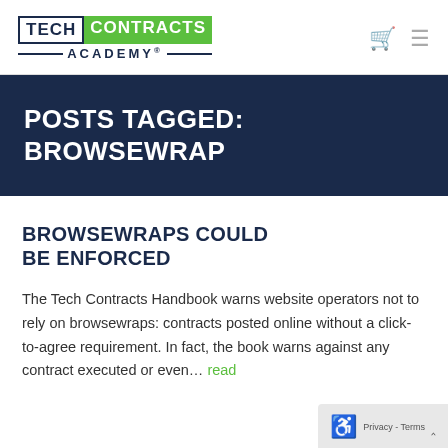TECH CONTRACTS ACADEMY
POSTS TAGGED: BROWSEWRAP
BROWSEWRAPS COULD BE ENFORCED
The Tech Contracts Handbook warns website operators not to rely on browsewraps: contracts posted online without a click-to-agree requirement. In fact, the book warns against any contract executed or even… read